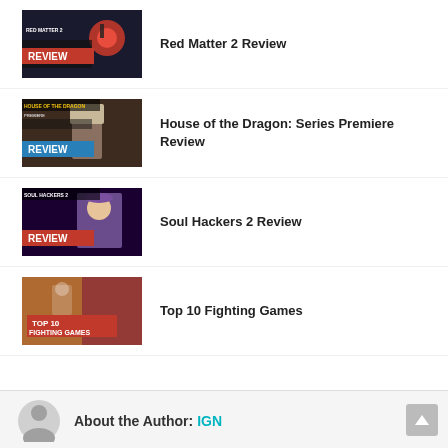Red Matter 2 Review
House of the Dragon: Series Premiere Review
Soul Hackers 2 Review
Top 10 Fighting Games
About the Author: IGN